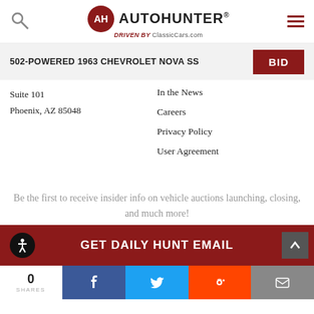AutoHunter — Driven By ClassicCars.com
502-POWERED 1963 CHEVROLET NOVA SS  BID
Suite 101
Phoenix, AZ 85048
In the News
Careers
Privacy Policy
User Agreement
Be the first to receive insider info on vehicle auctions launching, closing, and much more!
GET DAILY HUNT EMAIL
0 SHARES